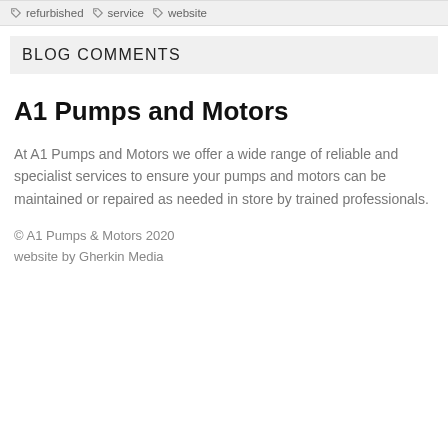refurbished
service
website
BLOG COMMENTS
A1 Pumps and Motors
At A1 Pumps and Motors we offer a wide range of reliable and specialist services to ensure your pumps and motors can be maintained or repaired as needed in store by trained professionals.
© A1 Pumps & Motors 2020
website by Gherkin Media